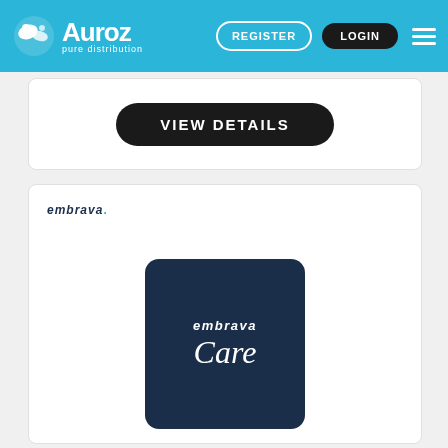[Figure (screenshot): Auroz pure distribution website header with logo, REGISTER and LOGIN buttons, and hamburger menu on blue background]
[Figure (screenshot): White card with a dark rounded button labeled VIEW DETAILS in uppercase white text]
[Figure (screenshot): White card showing 'embrava.' logo in top-left and a dark navy rounded square card with 'embrava Care' text in white]